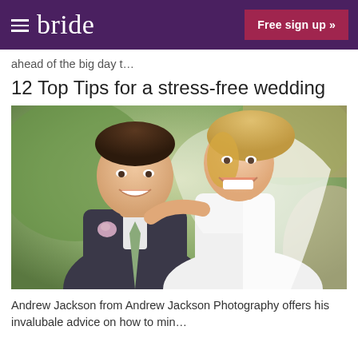bride  Free sign up »
ahead of the big day t…
12 Top Tips for a stress-free wedding
[Figure (photo): A smiling bride and groom photographed together outdoors. The bride is in a white dress and veil with blonde hair, the groom is in a dark suit with a floral boutonniere and sage green tie. Both are laughing and appear very happy.]
Andrew Jackson from Andrew Jackson Photography offers his invalubale advice on how to min…